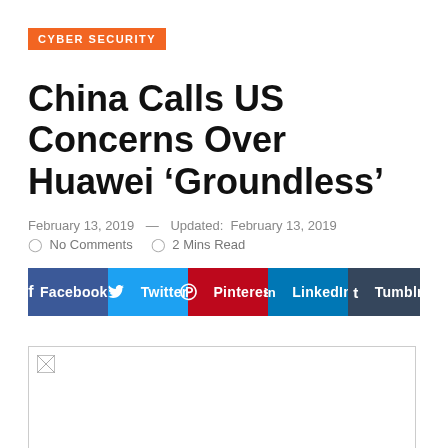CYBER SECURITY
China Calls US Concerns Over Huawei ‘Groundless’
February 13, 2019 — Updated: February 13, 2019
No Comments   2 Mins Read
[Figure (other): Social share buttons: Facebook, Twitter, Pinterest, LinkedIn, Tumblr, WhatsApp]
[Figure (photo): Broken/missing image placeholder for article photo]